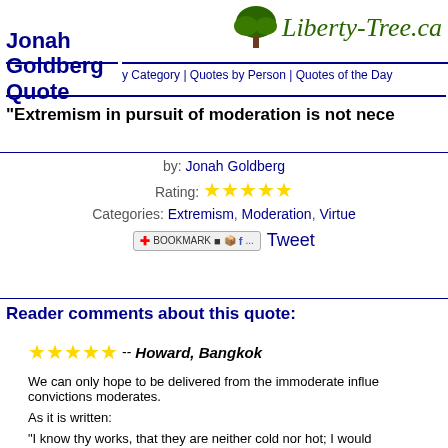Liberty-Tree.ca
Jonah Goldberg Quote
Quotes by Category | Quotes by Person | Quotes of the Day
"Extremism in pursuit of moderation is not nece...
by: Jonah Goldberg
Rating: ★★★★★
Categories: Extremism, Moderation, Virtue
Reader comments about this quote:
★★★★★ -- Howard, Bangkok
We can only hope to be delivered from the immoderate influence... convictions moderates.

As it is written:

"I know thy works, that they are neither cold nor hot; I would... hot."
~Revelation 3:15